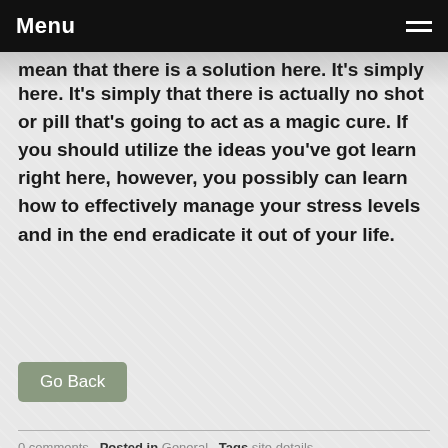Menu
mean that there is a solution here. It's simply that there is actually no shot or pill that's going to act as a magic cure. If you should utilize the ideas you've got learn right here, however, you possibly can learn how to effectively manage your stress levels and in the end eradicate it out of your life.
Go Back
0 comments  Posted in General  Tags site details
Comment
Name: